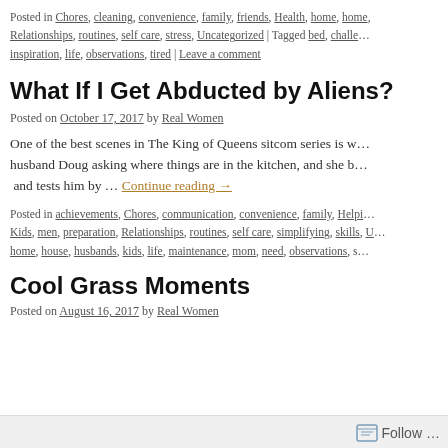Posted in Chores, cleaning, convenience, family, friends, Health, home, home, Relationships, routines, self care, stress, Uncategorized | Tagged bed, challe… inspiration, life, observations, tired | Leave a comment
What If I Get Abducted by Aliens?
Posted on October 17, 2017 by Real Women
One of the best scenes in The King of Queens sitcom series is w… husband Doug asking where things are in the kitchen, and she b… and tests him by … Continue reading →
Posted in achievements, Chores, communication, convenience, family, Helpi… Kids, men, preparation, Relationships, routines, self care, simplifying, skills, U… home, house, husbands, kids, life, maintenance, mom, need, observations, s…
Cool Grass Moments
Posted on August 16, 2017 by Real Women